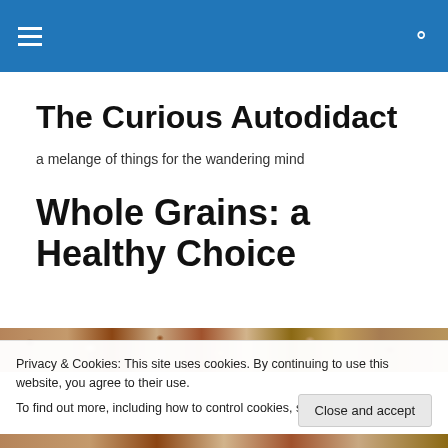The Curious Autodidact — navigation header
The Curious Autodidact
a melange of things for the wandering mind
Whole Grains: a Healthy Choice
[Figure (photo): Close-up photo of assorted whole grains including wheat, oats, and seeds in warm brown tones]
Privacy & Cookies: This site uses cookies. By continuing to use this website, you agree to their use.
To find out more, including how to control cookies, see here: Cookie Policy